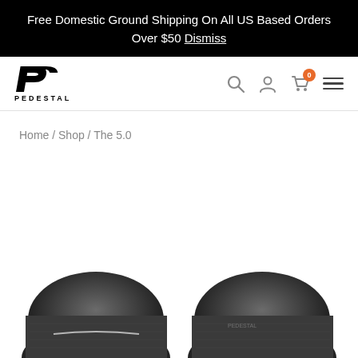Free Domestic Ground Shipping On All US Based Orders Over $50 Dismiss
[Figure (logo): Pedestal brand logo with stylized P and text PEDESTAL]
Home / Shop / The 5.0
[Figure (photo): Two dark grey knit beanies shown from above, partially cropped at the bottom of the page. Left beanie has a white stripe/logo detail.]